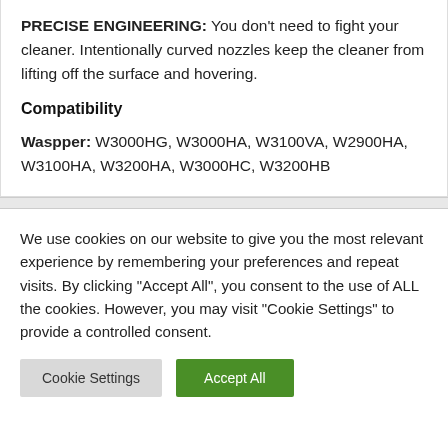PRECISE ENGINEERING: You don't need to fight your cleaner. Intentionally curved nozzles keep the cleaner from lifting off the surface and hovering.
Compatibility
Waspper: W3000HG, W3000HA, W3100VA, W2900HA, W3100HA, W3200HA, W3000HC, W3200HB
We use cookies on our website to give you the most relevant experience by remembering your preferences and repeat visits. By clicking "Accept All", you consent to the use of ALL the cookies. However, you may visit "Cookie Settings" to provide a controlled consent.